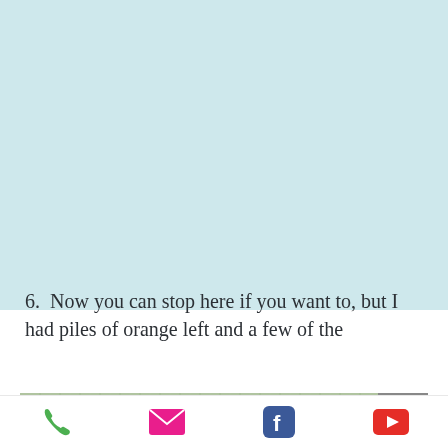6. Now you can stop here if you want to, but I had piles of orange left and a few of the
[Figure (photo): Photograph of a quilt laid out on a cutting mat, featuring orange, black, white, and dark grey patchwork squares and diagonal half-square triangle blocks arranged in a geometric pattern. A scroll-up arrow button is visible in the lower right of the image.]
Phone | Email | Facebook | YouTube icons